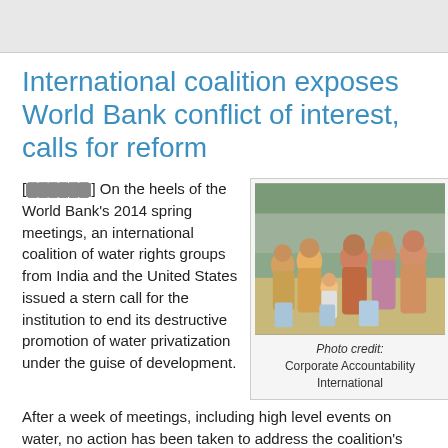International coalition exposes World Bank conflict of interest, calls for reform
[REDACTED] On the heels of the World Bank's 2014 spring meetings, an international coalition of water rights groups from India and the United States issued a stern call for the institution to end its destructive promotion of water privatization under the guise of development. After a week of meetings, including high level events on water, no action has been taken to address the coalition's concerns.
[Figure (photo): Group of people, including women and children, gathering water in an outdoor setting in India.]
Photo credit: Corporate Accountability International